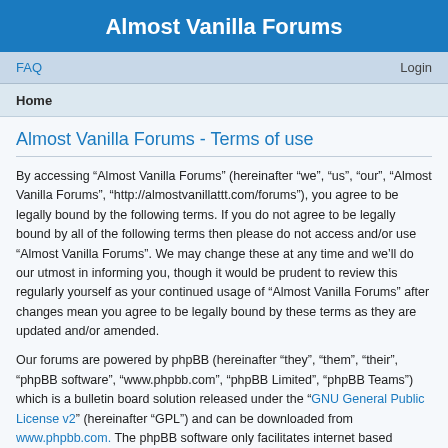Almost Vanilla Forums
FAQ    Login
Home
Almost Vanilla Forums - Terms of use
By accessing “Almost Vanilla Forums” (hereinafter “we”, “us”, “our”, “Almost Vanilla Forums”, “http://almostvanillattt.com/forums”), you agree to be legally bound by the following terms. If you do not agree to be legally bound by all of the following terms then please do not access and/or use “Almost Vanilla Forums”. We may change these at any time and we’ll do our utmost in informing you, though it would be prudent to review this regularly yourself as your continued usage of “Almost Vanilla Forums” after changes mean you agree to be legally bound by these terms as they are updated and/or amended.
Our forums are powered by phpBB (hereinafter “they”, “them”, “their”, “phpBB software”, “www.phpbb.com”, “phpBB Limited”, “phpBB Teams”) which is a bulletin board solution released under the “GNU General Public License v2” (hereinafter “GPL”) and can be downloaded from www.phpbb.com. The phpBB software only facilitates internet based discussions; phpBB Limited is not responsible for what we allow and/or disallow as permissible content and/or conduct. For further information about phpBB, please see: https://www.phpbb.com/.